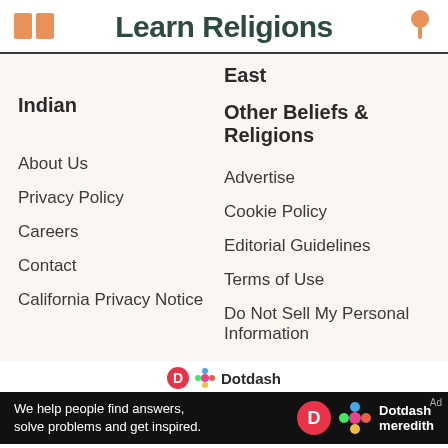Learn Religions
East
Indian
Other Beliefs & Religions
About Us
Advertise
Privacy Policy
Cookie Policy
Careers
Editorial Guidelines
Contact
Terms of Use
California Privacy Notice
Do Not Sell My Personal Information
We help people find answers, solve problems and get inspired.
Dotdash meredith